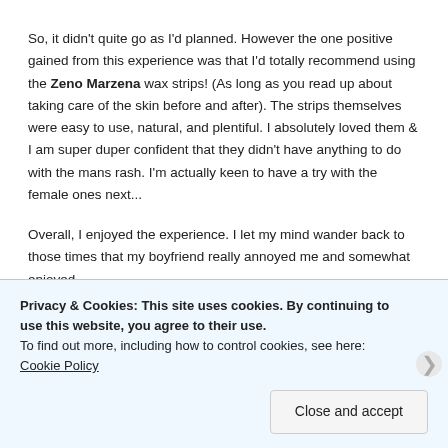So, it didn't quite go as I'd planned. However the one positive gained from this experience was that I'd totally recommend using the Zeno Marzena wax strips! (As long as you read up about taking care of the skin before and after). The strips themselves were easy to use, natural, and plentiful. I absolutely loved them & I am super duper confident that they didn't have anything to do with the mans rash. I'm actually keen to have a try with the female ones next...
Overall, I enjoyed the experience. I let my mind wander back to those times that my boyfriend really annoyed me and somewhat enjoyed
Privacy & Cookies: This site uses cookies. By continuing to use this website, you agree to their use.
To find out more, including how to control cookies, see here: Cookie Policy
Close and accept